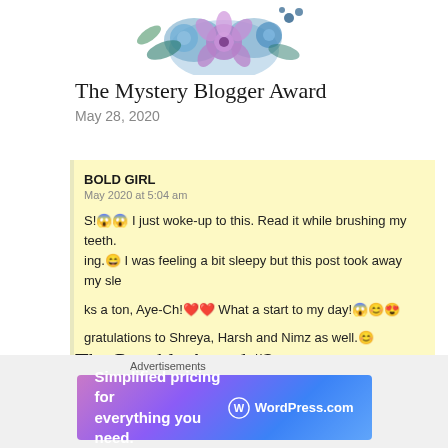[Figure (illustration): Watercolor floral arrangement with blue and purple flowers at top of page]
The Mystery Blogger Award
May 28, 2020
BOLD GIRL
May 2020 at 5:04 am

S! 😱😱 I just woke-up to this. Read it while brushing my teeth. ing.😄 I was feeling a bit sleepy but this post took away my sle

ks a ton, Aye-Ch! ❤️❤️ What a start to my day!😱😊😍

ratulations to Shreya, Harsh and Nimz as well.😊
The Penable Award #2
May 27, 2020
Advertisements
[Figure (screenshot): WordPress.com advertisement banner: Simplified pricing for everything you need.]